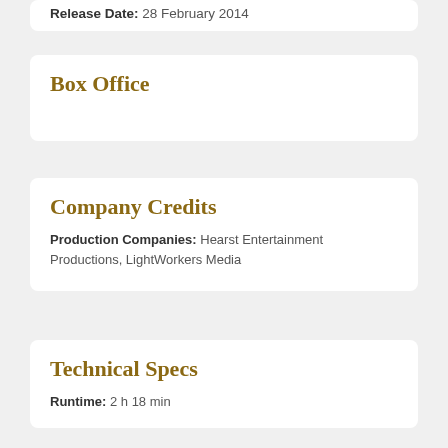Release Date: 28 February 2014
Box Office
Company Credits
Production Companies: Hearst Entertainment Productions, LightWorkers Media
Technical Specs
Runtime: 2 h 18 min